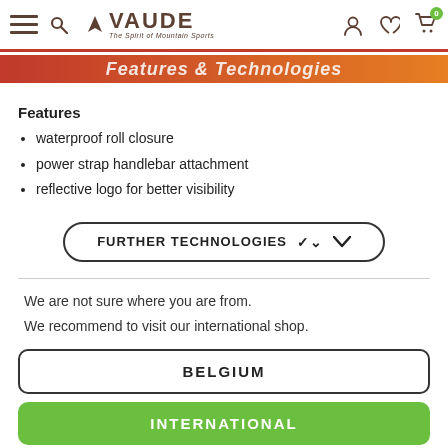VAUDE – The Spirit of Mountain Sports
Features & Technologies
Features
waterproof roll closure
power strap handlebar attachment
reflective logo for better visibility
FURTHER TECHNOLOGIES
We are not sure where you are from. We recommend to visit our international shop.
BELGIUM
INTERNATIONAL